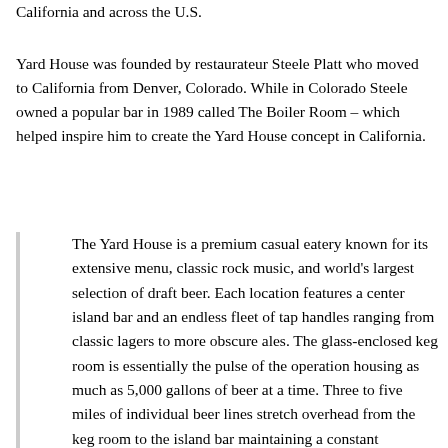California and across the U.S.
Yard House was founded by restaurateur Steele Platt who moved to California from Denver, Colorado. While in Colorado Steele owned a popular bar in 1989 called The Boiler Room – which helped inspire him to create the Yard House concept in California.
The Yard House is a premium casual eatery known for its extensive menu, classic rock music, and world's largest selection of draft beer. Each location features a center island bar and an endless fleet of tap handles ranging from classic lagers to more obscure ales. The glass-enclosed keg room is essentially the pulse of the operation housing as much as 5,000 gallons of beer at a time. Three to five miles of individual beer lines stretch overhead from the keg room to the island bar maintaining a constant temperature of 34-36 degrees